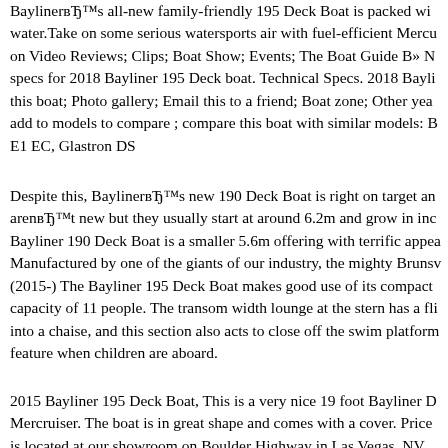Bayliner's all-new family-friendly 195 Deck Boat is packed with everything you need on the water. Take on some serious watersports air with fuel-efficient Mercury engines. Get the inside scoop on Video Reviews; Clips; Boat Show; Events; The Boat Guide B» N specs for 2018 Bayliner 195 Deck boat. Technical Specs. 2018 Bayliner this boat; Photo gallery; Email this to a friend; Boat zone; Other year add to models to compare ; compare this boat with similar models: B E1 EC, Glastron DS
Despite this, Bayliner's new 190 Deck Boat is right on target and aren't new but they usually start at around 6.2m and grow in inc Bayliner 190 Deck Boat is a smaller 5.6m offering with terrific appea Manufactured by one of the giants of our industry, the mighty Brunsy (2015-) The Bayliner 195 Deck Boat makes good use of its compact capacity of 11 people. The transom width lounge at the stern has a fli into a chaise, and this section also acts to close off the swim platform feature when children are aboard.
2015 Bayliner 195 Deck Boat, This is a very nice 19 foot Bayliner D Mercruiser. The boat is in great shape and comes with a cover. Price is located at our showroom on Boulder Highway in Las Vegas, NV.